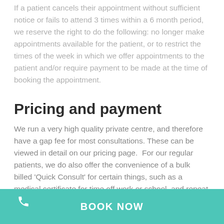If a patient cancels their appointment without sufficient notice or fails to attend 3 times within a 6 month period, we reserve the right to do the following: no longer make appointments available for the patient, or to restrict the times of the week in which we offer appointments to the patient and/or require payment to be made at the time of booking the appointment.
Pricing and payment
We run a very high quality private centre, and therefore have a gap fee for most consultations. These can be viewed in detail on our pricing page.  For our regular patients, we do also offer the convenience of a bulk billed 'Quick Consult' for certain things, such as a medical certificate for time off work or school, and repeat scripts or referrals where clinically appropriate.  Please read more about this on
BOOK NOW